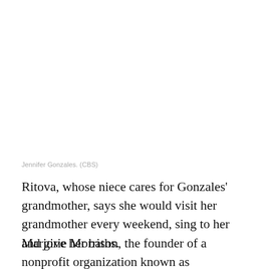Jennifer Gonzales. (CBS)
Ritova, whose niece cares for Gonzales' grandmother, says she would visit her grandmother every weekend, sing to her and give her baths.
Marjorie Morrison, the founder of a nonprofit organization known as PsychArmor, says Gonzales